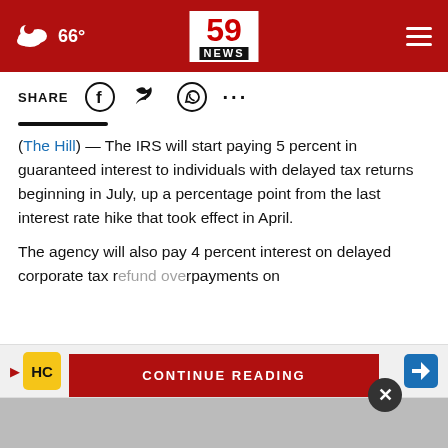66° | 59 NEWS
SHARE
(The Hill) — The IRS will start paying 5 percent in guaranteed interest to individuals with delayed tax returns beginning in July, up a percentage point from the last interest rate hike that took effect in April.
The agency will also pay 4 percent interest on delayed corporate tax r... overpayments on
CONTINUE READING
Ashburn OPEN 9AM–6PM 44110 Ashburn Shopping Plaza 190, .